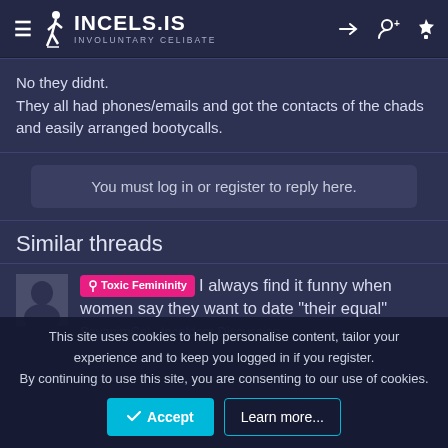INCELS.IS INVOLUNTARY CELIBATE
No they didnt.
They all had phones/emails and got the contacts of the chads and easily arranged bootycalls.
You must log in or register to reply here.
Similar threads
Toxic Femininity — I always find it funny when women say they want to date "their equal"
SayanimCel · Inceldom Discussion
This site uses cookies to help personalise content, tailor your experience and to keep you logged in if you register.
By continuing to use this site, you are consenting to our use of cookies.